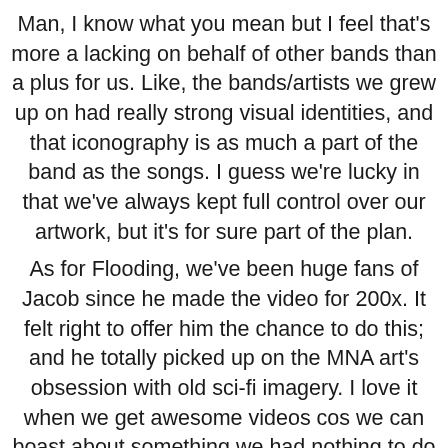Man, I know what you mean but I feel that's more a lacking on behalf of other bands than a plus for us. Like, the bands/artists we grew up on had really strong visual identities, and that iconography is as much a part of the band as the songs. I guess we're lucky in that we've always kept full control over our artwork, but it's for sure part of the plan. As for Flooding, we've been huge fans of Jacob since he made the video for 200x. It felt right to offer him the chance to do this; and he totally picked up on the MNA art's obsession with old sci-fi imagery. I love it when we get awesome videos cos we can boast about something we had nothing to do with.